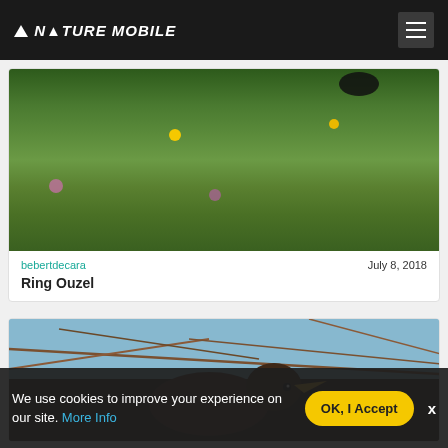NATURE MOBILE
[Figure (photo): Bird in wildflower meadow with green grasses, yellow and pink flowers, dark bird silhouette at top]
bebertdecara   July 8, 2018
Ring Ouzel
[Figure (photo): Close-up of a brown bird with yellow beak among bare branches against blue sky]
We use cookies to improve your experience on our site. More Info   OK, I Accept   x